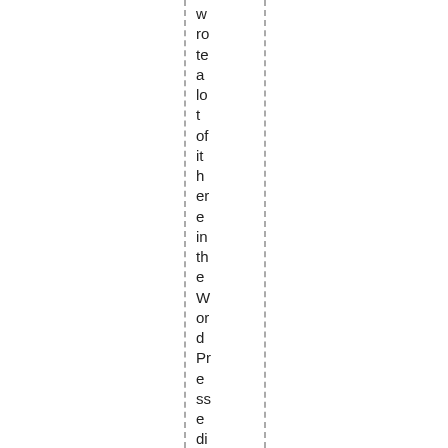wrote a lot of it here in the WordPress editing window.